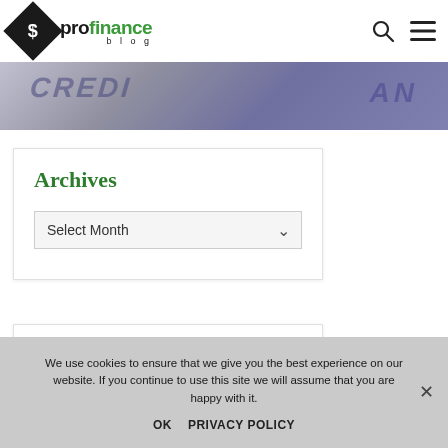profinance blog
[Figure (photo): Banner image showing credit card with blurred text, purple/blue tones]
Archives
Select Month
Recent Posts
We use cookies to ensure that we give you the best experience on our website. If you continue to use this site we will assume that you are happy with it.
OK   PRIVACY POLICY